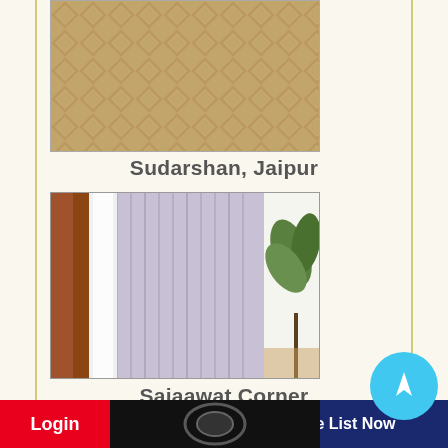[Figure (photo): Tan/beige diamond-patterned fabric or carpet texture, top portion visible]
Sudarshan, Jaipur
[Figure (photo): Vertical blinds/curtains in lavender/grey color with a plant visible on the right side and wooden furniture on the left]
Sajaawat Corner
[Figure (photo): Bottom partial image - appears dark/black, partially visible]
Login
Free List Now